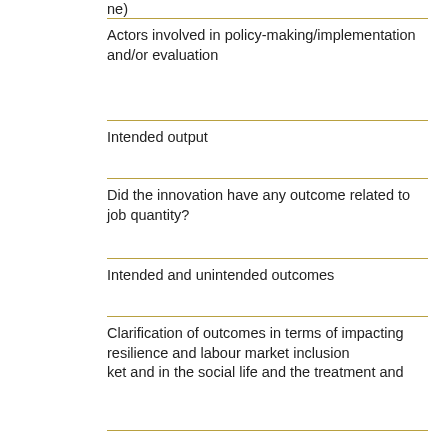ne)
Actors involved in policy-making/implementation and/or evaluation
Intended output
Did the innovation have any outcome related to job quantity?
Intended and unintended outcomes
Clarification of outcomes in terms of impacting resilience and labour market inclusion
ket and in the social life and the treatment and